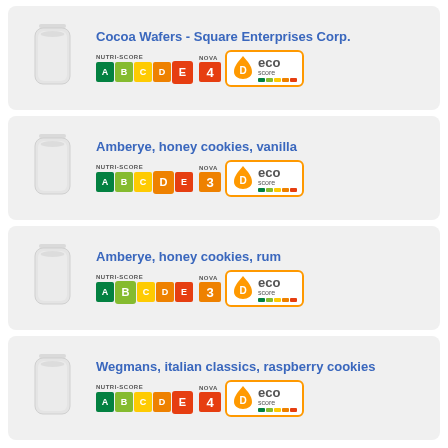[Figure (illustration): Product listing card: Cocoa Wafers - Square Enterprises Corp. with Nutri-Score E, NOVA 4, Eco-Score D]
Cocoa Wafers - Square Enterprises Corp.
[Figure (illustration): Product listing card: Amberye, honey cookies, vanilla with Nutri-Score D, NOVA 3, Eco-Score D]
Amberye, honey cookies, vanilla
[Figure (illustration): Product listing card: Amberye, honey cookies, rum with Nutri-Score B, NOVA 3, Eco-Score D]
Amberye, honey cookies, rum
[Figure (illustration): Product listing card: Wegmans, italian classics, raspberry cookies with Nutri-Score E, NOVA 4, Eco-Score D]
Wegmans, italian classics, raspberry cookies